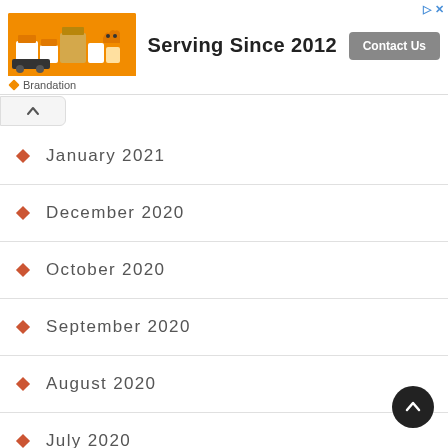[Figure (infographic): Advertisement banner: orange image of household goods boxes on left, 'Serving Since 2012' bold text in center, gray 'Contact Us' button on right. Footer shows orange diamond bullet and 'Brandation' text.]
January 2021
December 2020
October 2020
September 2020
August 2020
July 2020